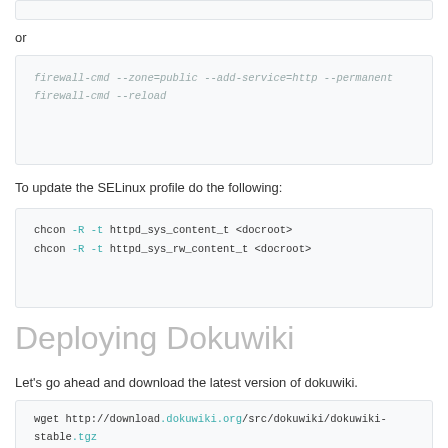or
firewall-cmd --zone=public --add-service=http --permanent
firewall-cmd --reload
To update the SELinux profile do the following:
chcon -R -t httpd_sys_content_t <docroot>
chcon -R -t httpd_sys_rw_content_t <docroot>
Deploying Dokuwiki
Let's go ahead and download the latest version of dokuwiki.
wget http://download.dokuwiki.org/src/dokuwiki/dokuwiki-stable.tgz